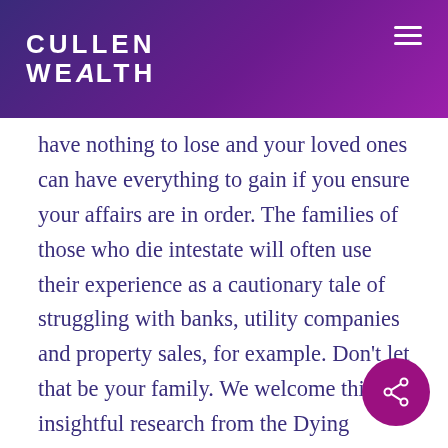CULLEN WEALTH
have nothing to lose and your loved ones can have everything to gain if you ensure your affairs are in order. The families of those who die intestate will often use their experience as a cautionary tale of struggling with banks, utility companies and property sales, for example. Don’t let that be your family. We welcome this insightful research from the Dying Matters Coalition and hope it encourages